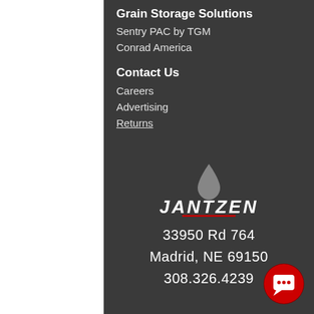Grain Storage Solutions
Sentry PAC by TGM
Conrad America
Contact Us
Careers
Advertising
Returns
[Figure (logo): Jantzen logo with water drop icon and italic bold text JANTZEN with red underline]
33950 Rd 764
Madrid, NE 69150
308.326.4239
[Figure (other): Red circular chat button in bottom right corner]